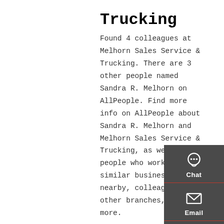Trucking
Found 4 colleagues at Melhorn Sales Service & Trucking. There are 3 other people named Sandra R. Melhorn on AllPeople. Find more info on AllPeople about Sandra R. Melhorn and Melhorn Sales Service & Trucking, as well as people who work for similar businesses nearby, colleagues for other branches, and more.